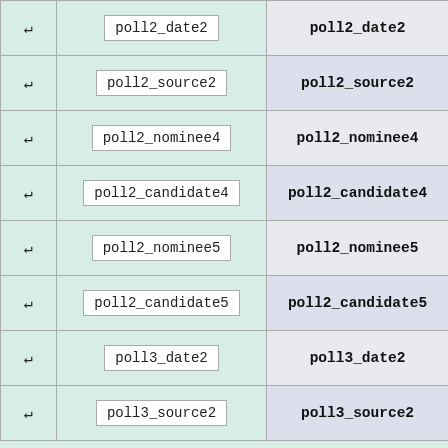| # | Field | Name |
| --- | --- | --- |
| ↵ | poll2_date2 | poll2_date2 |
| ↵ | poll2_source2 | poll2_source2 |
| ↵ | poll2_nominee4 | poll2_nominee4 |
| ↵ | poll2_candidate4 | poll2_candidate4 |
| ↵ | poll2_nominee5 | poll2_nominee5 |
| ↵ | poll2_candidate5 | poll2_candidate5 |
| ↵ | poll3_date2 | poll3_date2 |
| ↵ | poll3_source2 | poll3_source2 |